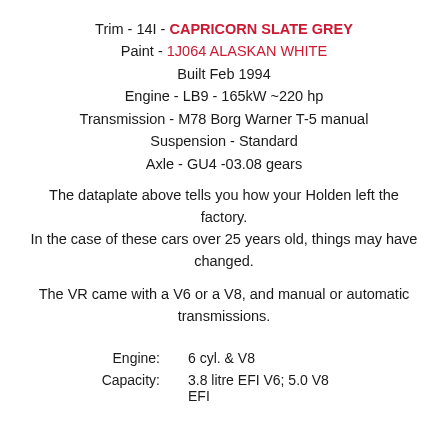Trim - 14I - CAPRICORN SLATE GREY
Paint - 1J064 ALASKAN WHITE
Built Feb 1994
Engine - LB9  - 165kW ~220 hp
Transmission - M78 Borg Warner T-5 manual
Suspension - Standard
Axle - GU4 -03.08 gears
The dataplate above tells you how your Holden left the factory. In the case of these cars over 25 years old, things may have changed.
The VR came with a V6 or a V8, and manual or automatic transmissions.
| Engine: | 6 cyl. & V8 |
| Capacity: | 3.8 litre EFI V6; 5.0 V8
EFI |